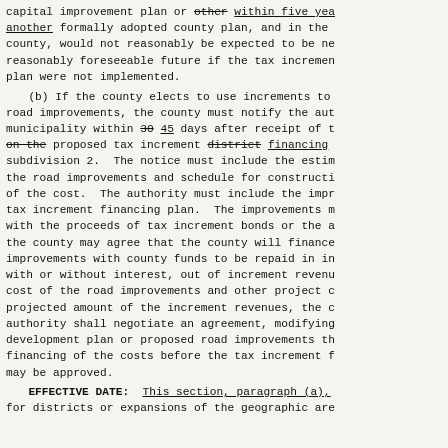capital improvement plan or other within five years another formally adopted county plan, and in the county, would not reasonably be expected to be ne reasonably foreseeable future if the tax incremen plan were not implemented.
    (b) If the county elects to use increments to road improvements, the county must notify the aut municipality within 30 45 days after receipt of t on the proposed tax increment district financing subdivision 2.  The notice must include the estim the road improvements and schedule for constructi of the cost.  The authority must include the impr tax increment financing plan.  The improvements m with the proceeds of tax increment bonds or the a the county may agree that the county will finance improvements with county funds to be repaid in in with or without interest, out of increment revenu cost of the road improvements and other project c projected amount of the increment revenues, the c authority shall negotiate an agreement, modifying development plan or proposed road improvements th financing of the costs before the tax increment f may be approved.
    EFFECTIVE DATE:  This section, paragraph (a), for districts or expansions of the geographic are